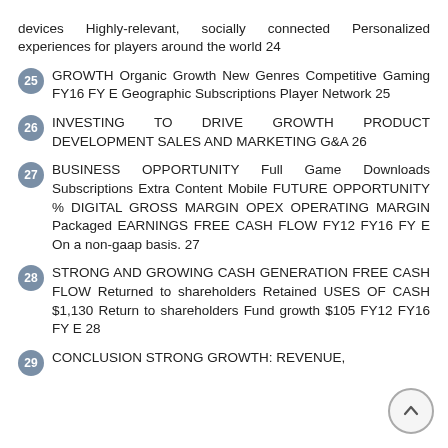devices Highly-relevant, socially connected Personalized experiences for players around the world 24
25  GROWTH Organic Growth New Genres Competitive Gaming FY16 FY E Geographic Subscriptions Player Network 25
26  INVESTING TO DRIVE GROWTH PRODUCT DEVELOPMENT SALES AND MARKETING G&A 26
27  BUSINESS OPPORTUNITY Full Game Downloads Subscriptions Extra Content Mobile FUTURE OPPORTUNITY % DIGITAL GROSS MARGIN OPEX OPERATING MARGIN Packaged EARNINGS FREE CASH FLOW FY12 FY16 FY E On a non-gaap basis. 27
28  STRONG AND GROWING CASH GENERATION FREE CASH FLOW Returned to shareholders Retained USES OF CASH $1,130 Return to shareholders Fund growth $105 FY12 FY16 FY E 28
29  CONCLUSION STRONG GROWTH: REVENUE,